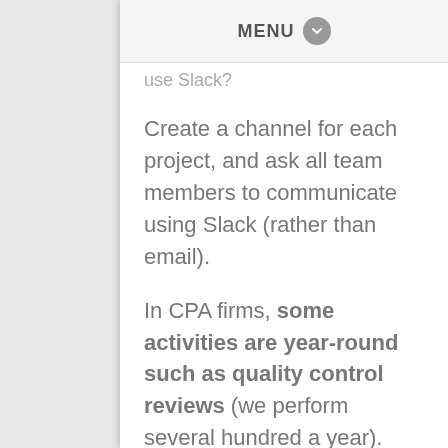MENU
…use Slack?
Create a channel for each project, and ask all team members to communicate using Slack (rather than email).
In CPA firms, some activities are year-round such as quality control reviews (we perform several hundred a year). Other activities are a true project, such as an audit engagement. Either